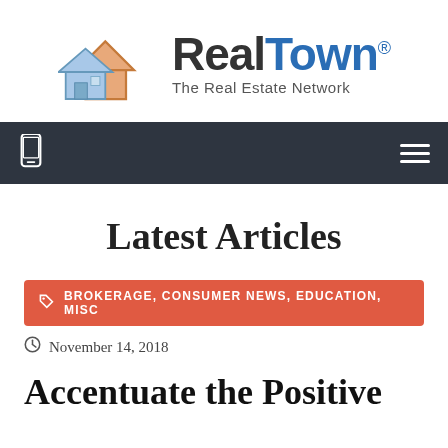[Figure (logo): RealTown logo with two house icons (orange and blue) and text 'RealTown® The Real Estate Network']
Navigation bar with mobile phone icon and hamburger menu icon
Latest Articles
BROKERAGE, CONSUMER NEWS, EDUCATION, MISC
November 14, 2018
Accentuate the Positive